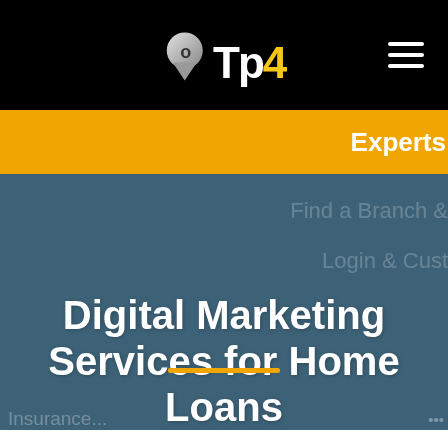Top4
Experts
Find a Branch &
Login & Cust
Digital Marketing Services for Home Loans
Insurance...
[Figure (other): Orange horizontal divider line]